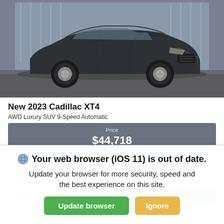[Figure (photo): Dark gray Cadillac XT4 SUV photographed in a parking area with a glass building in the background]
New 2023 Cadillac XT4
AWD Luxury SUV 9-Speed Automatic
Price
$44,718
*First Name
*Last Name
*Email
Phone
Get Our Best Price
Your web browser (iOS 11) is out of date.
Update your browser for more security, speed and the best experience on this site.
Update browser  Ignore